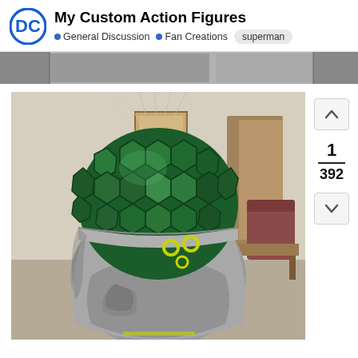My Custom Action Figures • General Discussion • Fan Creations superman
[Figure (photo): A custom DC villain helmet/head prop with a green hexagonal-scale dome top and silver sculpted face/jaw, hanging by wires in an office or studio setting.]
1
392